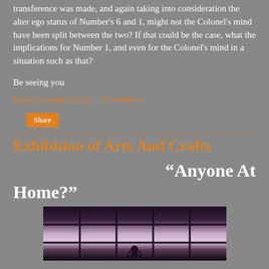transference was made, and again taking into consideration the alter ego status of Number's 6 and 1, might not the Colonel's mind have been split between the two? If that could be the case, what the implications for Number 1, and even for the Colonel's mind in a situation such as that?
Be seeing you
David Stimpson at 08:47    No comments:
Share
Exhibition of Arts And Crafts
“Anyone At Home?”
[Figure (photo): Black and white photograph showing a grid-paned window from inside, with light coming through creating a glowing effect, and a small silhouetted figure visible at the bottom center]